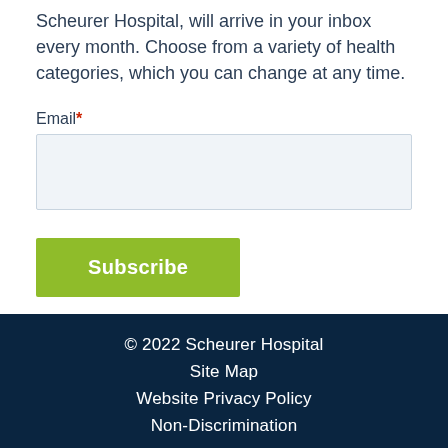Scheurer Hospital, will arrive in your inbox every month. Choose from a variety of health categories, which you can change at any time.
Email*
Subscribe
© 2022 Scheurer Hospital
Site Map
Website Privacy Policy
Non-Discrimination